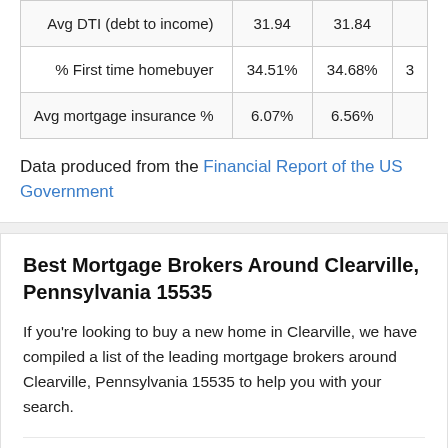|  | Col1 | Col2 | Col3 |
| --- | --- | --- | --- |
| Avg DTI (debt to income) | 31.94 | 31.84 |  |
| % First time homebuyer | 34.51% | 34.68% | 3 |
| Avg mortgage insurance % | 6.07% | 6.56% |  |
Data produced from the Financial Report of the US Government
Best Mortgage Brokers Around Clearville, Pennsylvania 15535
If you're looking to buy a new home in Clearville, we have compiled a list of the leading mortgage brokers around Clearville, Pennsylvania 15535 to help you with your search.
Express Mortgage Financial Service PC